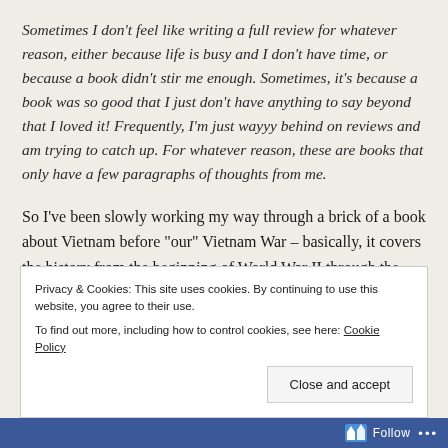Sometimes I don't feel like writing a full review for whatever reason, either because life is busy and I don't have time, or because a book didn't stir me enough.  Sometimes, it's because a book was so good that I just don't have anything to say beyond that I loved it!  Frequently, I'm just wayyy behind on reviews and am trying to catch up.  For whatever reason, these are books that only have a few paragraphs of thoughts from me.
So I've been slowly working my way through a brick of a book about Vietnam before "our" Vietnam War – basically, it covers the history from the beginning of World War II through the beginning of the Vietnam War, most of which the Communists spent fighting with the French, with the US and China getting
Privacy & Cookies: This site uses cookies. By continuing to use this website, you agree to their use.
To find out more, including how to control cookies, see here: Cookie Policy
Close and accept
Follow